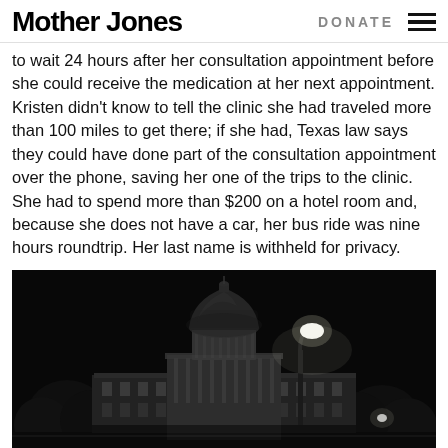Mother Jones | DONATE
to wait 24 hours after her consultation appointment before she could receive the medication at her next appointment. Kristen didn't know to tell the clinic she had traveled more than 100 miles to get there; if she had, Texas law says they could have done part of the consultation appointment over the phone, saving her one of the trips to the clinic. She had to spend more than $200 on a hotel room and, because she does not have a car, her bus ride was nine hours roundtrip. Her last name is withheld for privacy.
[Figure (photo): Black and white nighttime photograph of the Texas State Capitol building illuminated against a dark sky, with a street lamp in the foreground.]